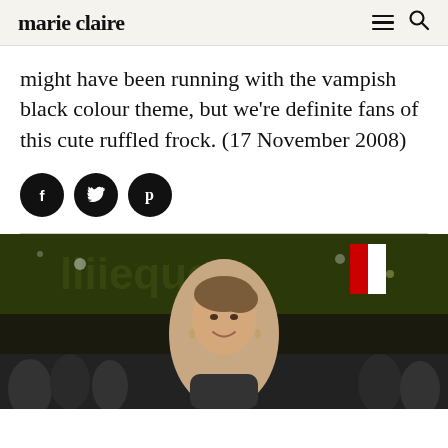marie claire
might have been running with the vampish black colour theme, but we're definite fans of this cute ruffled frock. (17 November 2008)
[Figure (infographic): Three social media share buttons: Facebook (f), Twitter (bird), Pinterest (p), each as a white icon on a black circle]
[Figure (photo): A smiling woman with brown upswept hair at what appears to be a movie premiere, surrounded by a crowd. Twilight-related signage visible in the background.]